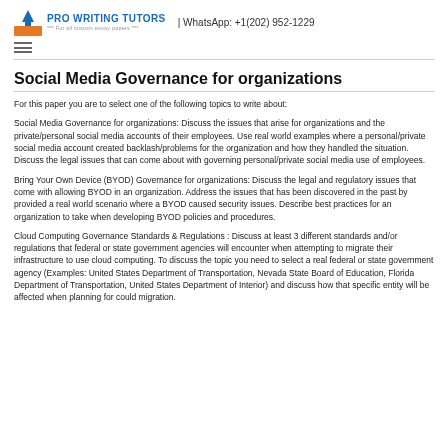PRO WRITING TUTORS *** For all custom essay papers *** | WhatsApp: +1(202) 952-1229
Social Media Governance for organizations
For this paper you are to select one of the following topics to write about:
Social Media Governance for organizations: Discuss the issues that arise for organizations and the private/personal social media accounts of their employees. Use real world examples where a personal/private social media account created backlash/problems for the organization and how they handled the situation. Discuss the legal issues that can come about with governing personal/private social media use of employees.
Bring Your Own Device (BYOD) Governance for organizations: Discuss the legal and regulatory issues that come with allowing BYOD in an organization. Address the issues that has been discovered in the past by provided a real world scenario where a BYOD caused security issues. Describe best practices for an organization to take when developing BYOD policies and procedures.
Cloud Computing Governance Standards & Regulations : Discuss at least 3 different standards and/or regulations that federal or state government agencies will encounter when attempting to migrate their infrastructure to use cloud computing. To discuss the topic you need to select a real federal or state government agency (Examples: United States Department of Transportation, Nevada State Board of Education, Florida Department of Transportation, United States Department of Interior) and discuss how that specific entity will be affected when planning for could migration.